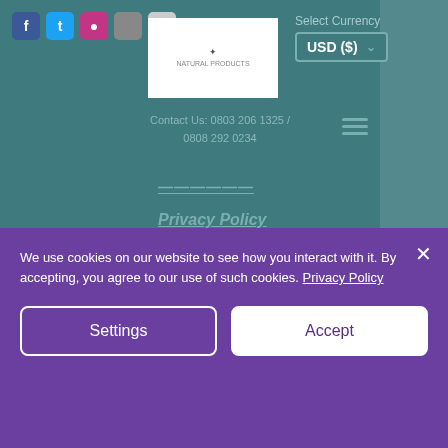Social icons: Facebook, Twitter, Instagram, Email, Bag
Select Currency
USD ($)
Contact Us: 0803 206 1325 / 0808 292 0234
——————
Privacy Policy
DHL Tracking
Accessibility Statement
Contact Us - Phone
Contact Us - Whatsapp
Contact Us - Email
We use cookies on our website to see how you interact with it. By accepting, you agree to our use of such cookies. Privacy Policy

[Settings] [Accept]